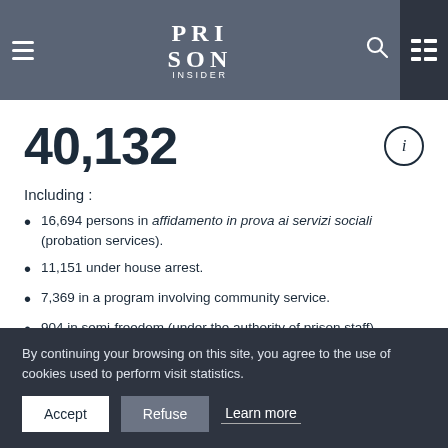PRISON INSIDER
Number of people serving custodial sentences
40,132
Including :
16,694 persons in affidamento in prova ai servizi sociali (probation services).
11,151 under house arrest.
7,369 in a program involving community service.
904 in semi-freedom (under the authority of prison staff).
By continuing your browsing on this site, you agree to the use of cookies used to perform visit statistics.